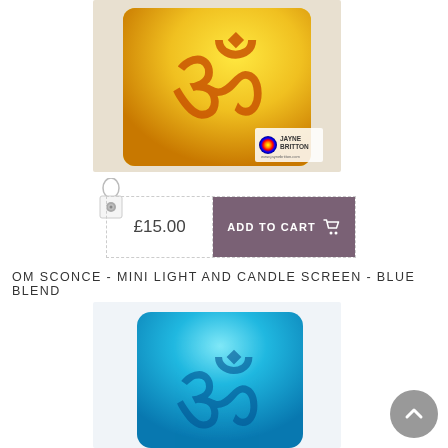[Figure (photo): Yellow cylindrical candle/light screen with Om (ॐ) symbol in orange, with Jayne Britton logo watermark in bottom right corner]
£15.00
ADD TO CART
OM SCONCE - MINI LIGHT AND CANDLE SCREEN - BLUE BLEND
[Figure (photo): Blue cylindrical candle/light screen with Om (ॐ) symbol in darker blue, partial view]